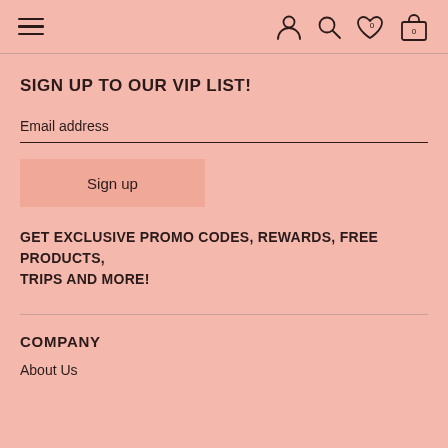Navigation header with hamburger menu, user icon, search icon, heart icon with 0, bag icon with 0
SIGN UP TO OUR VIP LIST!
Email address
Sign up
GET EXCLUSIVE PROMO CODES, REWARDS, FREE PRODUCTS, TRIPS AND MORE!
COMPANY
About Us